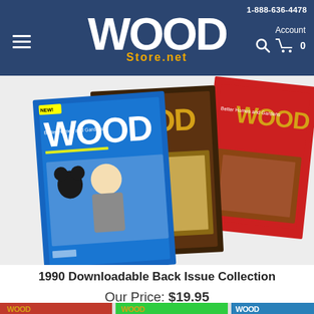1-888-636-4478 | WOOD Store.net | Account | Search | Cart 0
[Figure (photo): Three overlapping WOOD magazine covers from 1990 - left cover is blue with Mickey Mouse and man, center cover is brown/dark with shop bench, right cover is red with workshop tools]
1990 Downloadable Back Issue Collection
Our Price: $19.95
[Figure (photo): Partial view of multiple WOOD magazine covers at the bottom of the page - red, green, blue covers visible]